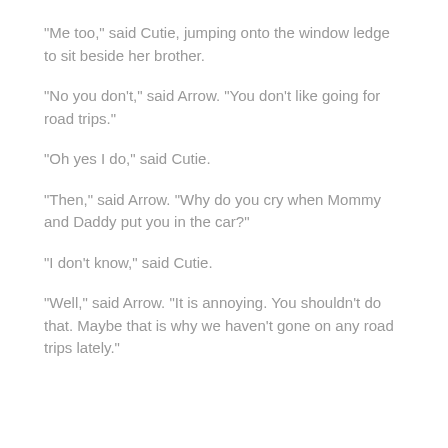“Me too,” said Cutie, jumping onto the window ledge to sit beside her brother.
“No you don’t,” said Arrow. “You don’t like going for road trips.”
“Oh yes I do,” said Cutie.
“Then,” said Arrow. “Why do you cry when Mommy and Daddy put you in the car?”
“I don’t know,” said Cutie.
“Well,” said Arrow. “It is annoying. You shouldn’t do that. Maybe that is why we haven’t gone on any road trips lately.”